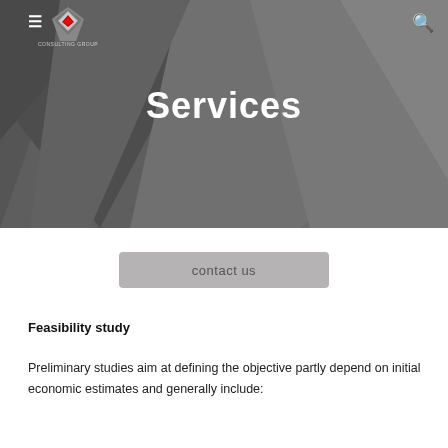[Figure (illustration): Dark grey geometric hero banner with triangular polygon shapes creating a layered low-poly background effect. Navigation bar with hamburger menu, company logo (red diamond shape), and search icon.]
Services
contact us
Feasibility study
Preliminary studies aim at defining the objective partly depend on initial economic estimates and generally include: